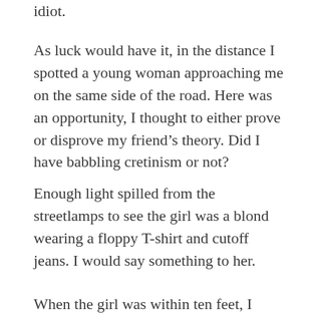idiot.
As luck would have it, in the distance I spotted a young woman approaching me on the same side of the road. Here was an opportunity, I thought to either prove or disprove my friend’s theory. Did I have babbling cretinism or not?
Enough light spilled from the streetlamps to see the girl was a blond wearing a floppy T-shirt and cutoff jeans. I would say something to her.
When the girl was within ten feet, I